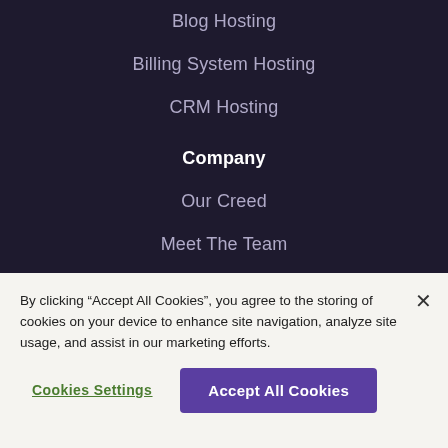Blog Hosting
Billing System Hosting
CRM Hosting
Company
Our Creed
Meet The Team
Careers
Green Hosting
Billion Tree Pledge
By clicking “Accept All Cookies”, you agree to the storing of cookies on your device to enhance site navigation, analyze site usage, and assist in our marketing efforts.
Cookies Settings
Accept All Cookies